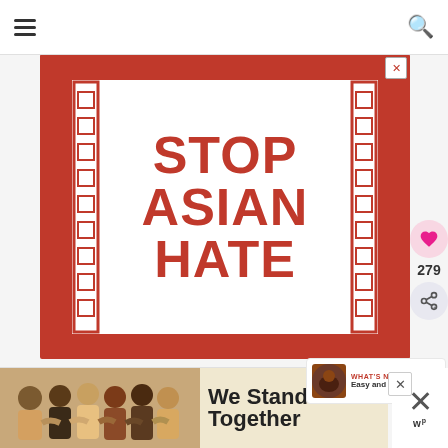[Figure (illustration): Stop Asian Hate graphic: red background with white inner box containing bold red text reading STOP ASIAN HATE with decorative Asian-inspired border pattern]
279
WHAT'S NEXT → Easy and Delicious...
[Figure (photo): Advertisement showing group of people from behind with arms around each other, text reads We Stand Together with W logo]
We Stand Together